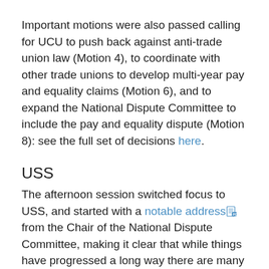Important motions were also passed calling for UCU to push back against anti-trade union law (Motion 4), to coordinate with other trade unions to develop multi-year pay and equality claims (Motion 6), and to expand the National Dispute Committee to include the pay and equality dispute (Motion 8): see the full set of decisions here.
USS
The afternoon session switched focus to USS, and started with a notable address from the Chair of the National Dispute Committee, making it clear that while things have progressed a long way there are many aspects that are far from certain and will require our attention.
The main session consisted of healthy debate over substantial motions setting out the potential path of the